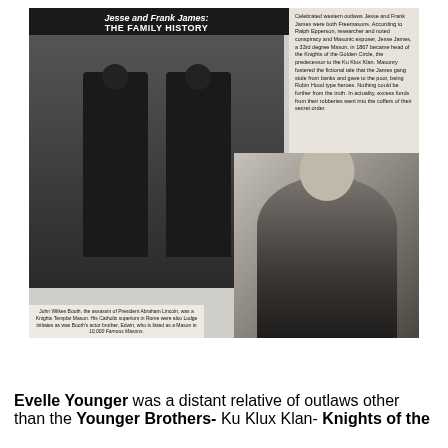[Figure (photo): Composite image showing: (top) a book cover titled 'Jesse and Frank James: THE FAMILY HISTORY' with a historical photograph of two men standing, beside a column of small text; (bottom right) a portrait photograph of John Wilkes Booth with a caption below it.]
Evelle Younger was a distant relative of outlaws other than the Younger Brothers- Ku Klux Klan- Knights of the